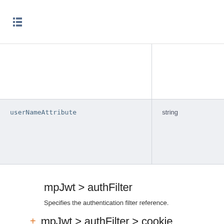≡
| userNameAttribute | string |
| --- | --- |
| userNameAttribute | string |
mpJwt > authFilter
Specifies the authentication filter reference.
+ mpJwt > authFilter > cookie
A unique configuration ID.